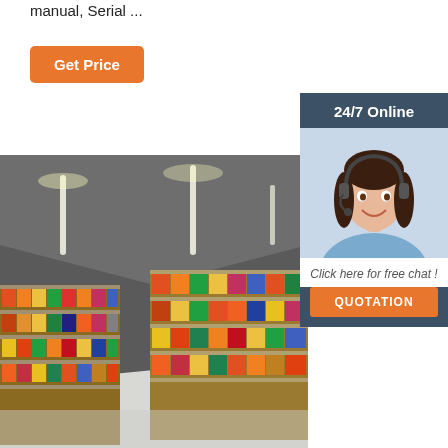manual, Serial ...
[Figure (other): Orange 'Get Price' button]
[Figure (other): 24/7 Online chat widget with woman wearing headset, 'Click here for free chat!' text, and orange QUOTATION button]
[Figure (photo): Interior of a supermarket with shelves stocked with colorful products, fluorescent lighting on ceiling]